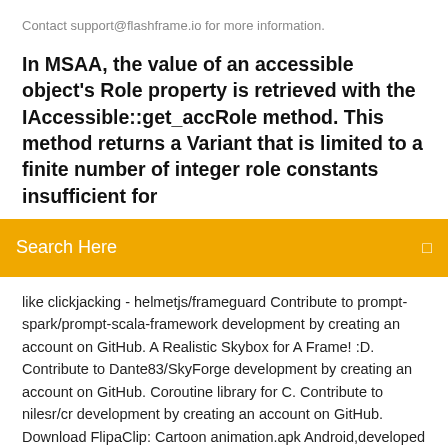Contact support@flashframe.io for more information.
In MSAA, the value of an accessible object's Role property is retrieved with the IAccessible::get_accRole method. This method returns a Variant that is limited to a finite number of integer role constants insufficient for
Search Here
like clickjacking - helmetjs/frameguard Contribute to prompt-spark/prompt-scala-framework development by creating an account on GitHub. A Realistic Skybox for A Frame! :D. Contribute to Dante83/SkyForge development by creating an account on GitHub. Coroutine library for C. Contribute to nilesr/cr development by creating an account on GitHub. Download FlipaClip: Cartoon animation.apk Android,developed by Visual Blasters LLC File size 31.90 MB.is vblast,flipaclip,design. Game Booster 4x Faster (Patched) is a supporting and